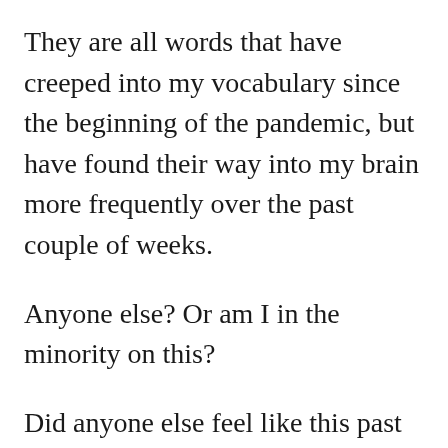They are all words that have creeped into my vocabulary since the beginning of the pandemic, but have found their way into my brain more frequently over the past couple of weeks.
Anyone else? Or am I in the minority on this?
Did anyone else feel like this past weekend was not really the 4th of July? I don’t know about you, but there was just something missing that didn’t feel the